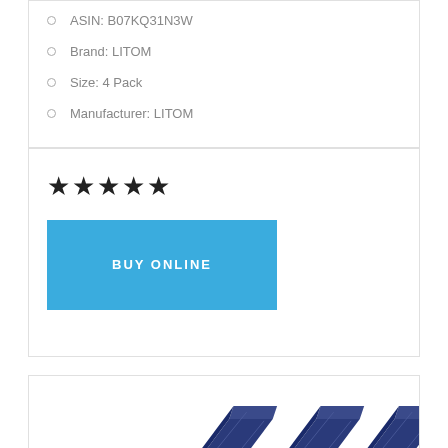ASIN: B07KQ31N3W
Brand: LITOM
Size: 4 Pack
Manufacturer: LITOM
★★★★★
BUY ONLINE
[Figure (photo): Four dark blue/navy solar panel units arranged side by side, partially visible at the bottom of the page]